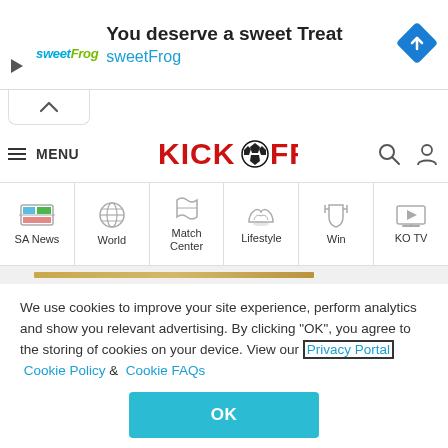[Figure (screenshot): Ad banner for sweetFrog: 'You deserve a sweet Treat' with sweetFrog logo and blue diamond navigation arrow icon]
[Figure (screenshot): Website navigation header for Kickoff with hamburger menu, Kickoff logo, search and user icons]
[Figure (screenshot): Category navigation bar with icons: SA News, World, Match Center, Lifestyle, Win, KO TV]
We use cookies to improve your site experience, perform analytics and show you relevant advertising. By clicking "OK", you agree to the storing of cookies on your device. View our Privacy Portal Cookie Policy & Cookie FAQs
[Figure (screenshot): OK button in teal/cyan color]